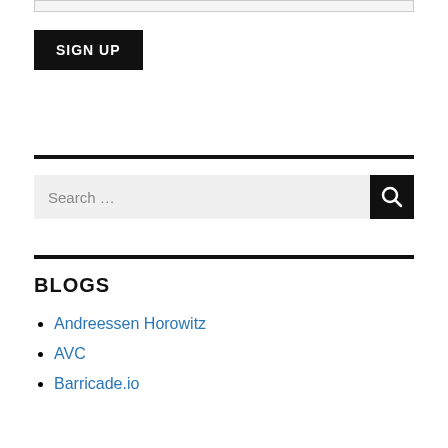[Figure (other): Search input field / text box at top of page]
SIGN UP
[Figure (other): Horizontal black divider line]
[Figure (other): Search bar with text 'Search ...' and black search button]
[Figure (other): Horizontal black divider line]
BLOGS
Andreessen Horowitz
AVC
Barricade.io